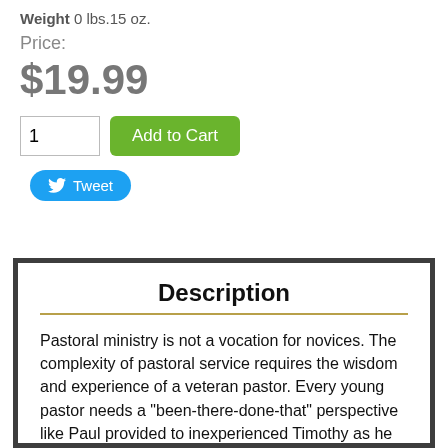Weight 0 lbs.15 oz.
Price:
$19.99
[Figure (screenshot): Quantity input field showing '1' and a green 'Add to Cart' button]
[Figure (screenshot): Blue Twitter Tweet button with bird icon]
Description
Pastoral ministry is not a vocation for novices. The complexity of pastoral service requires the wisdom and experience of a veteran pastor. Every young pastor needs a "been-there-done-that" perspective like Paul provided to inexperienced Timothy as he embarked on his ministry.